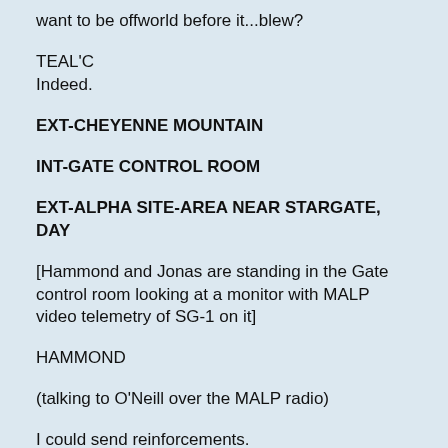want to be offworld before it...blew?
TEAL'C
Indeed.
EXT-CHEYENNE MOUNTAIN
INT-GATE CONTROL ROOM
EXT-ALPHA SITE-AREA NEAR STARGATE, DAY
[Hammond and Jonas are standing in the Gate control room looking at a monitor with MALP video telemetry of SG-1 on it]
HAMMOND
(talking to O'Neill over the MALP radio)
I could send reinforcements.
O'NEILL